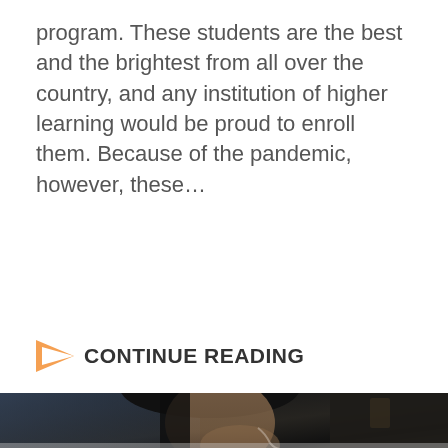program. These students are the best and the brightest from all over the country, and any institution of higher learning would be proud to enroll them. Because of the pandemic, however, these…
CONTINUE READING
[Figure (photo): A young woman with dark hair wearing white earphones, looking at a screen with a serious/concentrating expression, photographed in a dark environment]